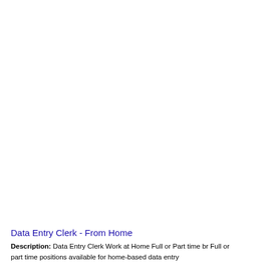Data Entry Clerk - From Home
Description: Data Entry Clerk Work at Home Full or Part time br Full or part time positions available for home-based data entry